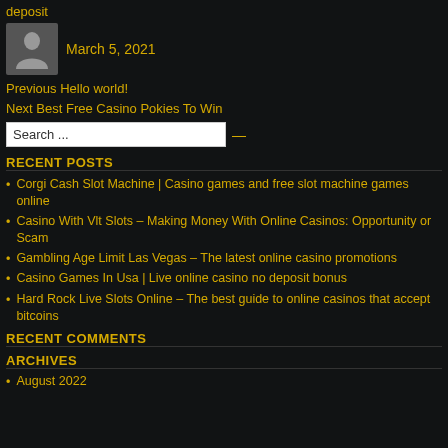deposit
March 5, 2021
Previous Hello world!
Next Best Free Casino Pokies To Win
Search ...
RECENT POSTS
Corgi Cash Slot Machine | Casino games and free slot machine games online
Casino With Vlt Slots – Making Money With Online Casinos: Opportunity or Scam
Gambling Age Limit Las Vegas – The latest online casino promotions
Casino Games In Usa | Live online casino no deposit bonus
Hard Rock Live Slots Online – The best guide to online casinos that accept bitcoins
RECENT COMMENTS
ARCHIVES
August 2022